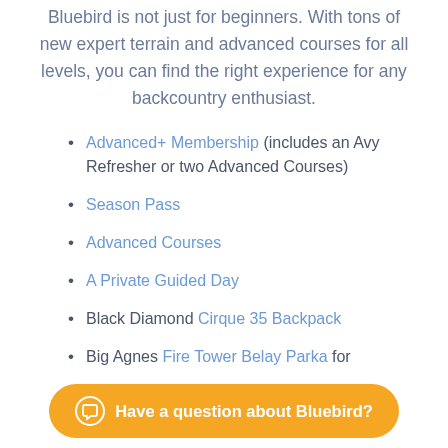Bluebird is not just for beginners. With tons of new expert terrain and advanced courses for all levels, you can find the right experience for any backcountry enthusiast.
Advanced+ Membership (includes an Avy Refresher or two Advanced Courses)
Season Pass
Advanced Courses
A Private Guided Day
Black Diamond Cirque 35 Backpack
Big Agnes Fire Tower Belay Parka for the…
Have a question about Bluebird?